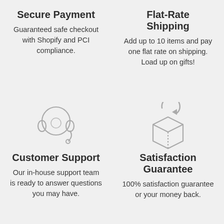Secure Payment
Guaranteed safe checkout with Shopify and PCI compliance.
Flat-Rate Shipping
Add up to 10 items and pay one flat rate on shipping. Load up on gifts!
[Figure (illustration): Headset/customer support icon: outline drawing of headphones with a microphone]
Customer Support
Our in-house support team is ready to answer questions you may have.
[Figure (illustration): Box with return arrow icon: outline drawing of a box with a circular arrow above it]
Satisfaction Guarantee
100% satisfaction guarantee or your money back.